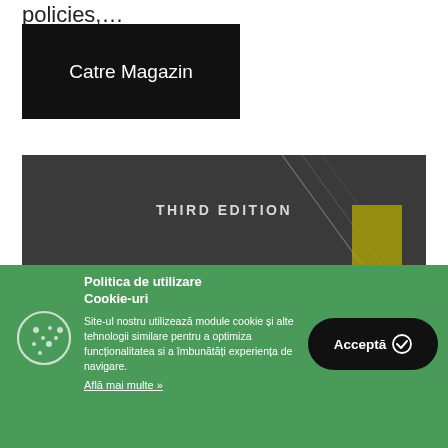policies,...
[Figure (other): Black button labeled 'Catre Magazin']
[Figure (other): Dark book cover banner with diagonal lines and text 'THIRD EDITION']
Politica de utilizare Cookie-uri
Site-ul nostru utilizează module cookie și alte tehnologii similare pentru a optimiza funcționalitatea si a îmbunătăți experiența de navigare.
Află mai multe »
[Figure (other): Black rounded button labeled 'Acceptă' with checkmark icon]